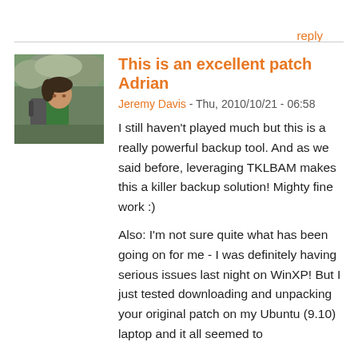reply
This is an excellent patch Adrian
Jeremy Davis - Thu, 2010/10/21 - 06:58
[Figure (photo): Avatar photo of Jeremy Davis, person with green jacket and backpack outdoors]
I still haven't played much but this is a really powerful backup tool. And as we said before, leveraging TKLBAM makes this a killer backup solution! Mighty fine work :)
Also: I'm not sure quite what has been going on for me - I was definitely having serious issues last night on WinXP! But I just tested downloading and unpacking your original patch on my Ubuntu (9.10) laptop and it all seemed to